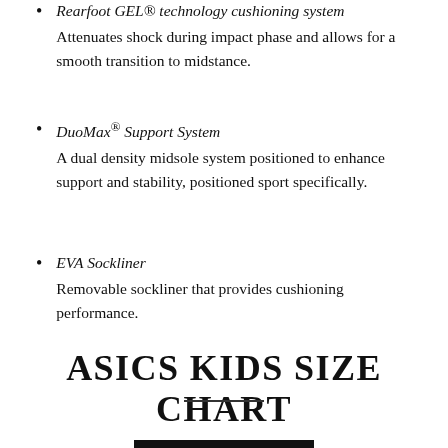Rearfoot GEL® technology cushioning system — Attenuates shock during impact phase and allows for a smooth transition to midstance.
DuoMax® Support System — A dual density midsole system positioned to enhance support and stability, positioned sport specifically.
EVA Sockliner — Removable sockliner that provides cushioning performance.
ASICS KIDS SIZE CHART